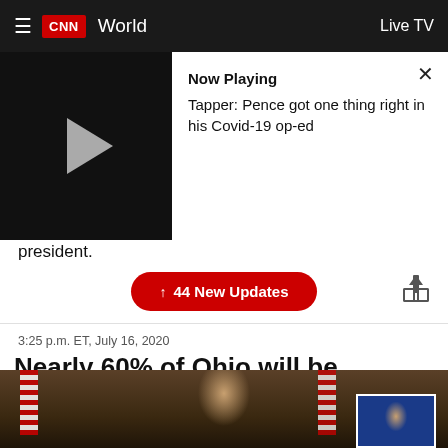CNN  World  Live TV
[Figure (screenshot): Video player panel showing a paused video with play button on left black area, and on the right white area: 'Now Playing' bold text, title 'Tapper: Pence got one thing right in his Covid-19 op-ed', and an X close button]
president.
↑  44 New Updates
3:25 p.m. ET, July 16, 2020
Nearly 60% of Ohio will be required to wear masks starting tomorrow
From CNN's Rebekah Riess
[Figure (photo): Photo of a man speaking at a podium, with American flag on left and Ohio flag on right. Inset shows a woman with glasses against a blue background.]